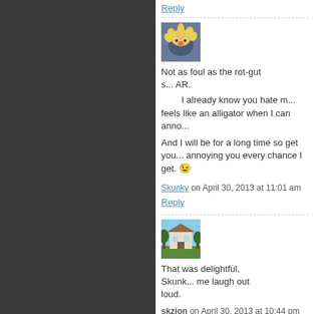Reply
[Figure (photo): Avatar of a Muppet-like character with wild blonde hair]
Not as foul as the rot-gut s... AR.
I already know you hate m... feels like an alligator when I can anno...
And I will be for a long time so get you... annoying you every chance I get. 😉
Skunky on April 30, 2013 at 11:01 am
Reply
[Figure (photo): Avatar showing a large house or mansion with trees and blue sky]
That was delightful, Skunk... me laugh out loud.
skzion on April 30, 2013 at 10:44 pm
Reply